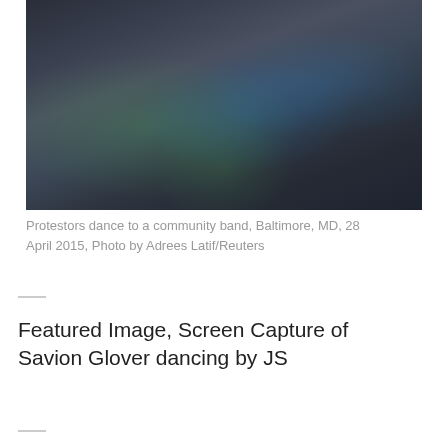[Figure (photo): Protestors dance to a community band at a street event, Baltimore, MD, 28 April 2015. Dancers in green and blue outfits perform in the street. Photo by Adrees Latif/Reuters.]
Protestors dance to a community band, Baltimore, MD, 28 April 2015, Photo by Adrees Latif/Reuters
—
Featured Image, Screen Capture of Savion Glover dancing by JS
—